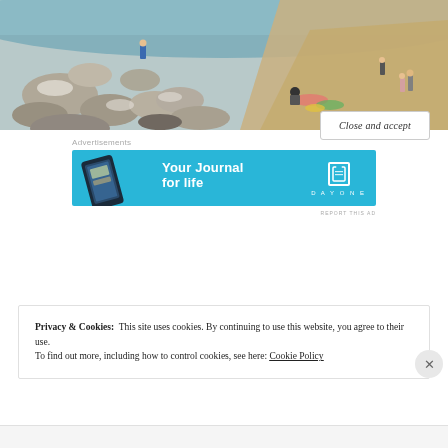[Figure (photo): Beach scene with rocks, sand, water, and people playing near the shoreline]
Advertisements
[Figure (other): Advertisement banner: 'Your Journal for life' by DayOne app, light blue background with phone image]
REPORT THIS AD
Privacy & Cookies:  This site uses cookies. By continuing to use this website, you agree to their use.
To find out more, including how to control cookies, see here: Cookie Policy
Close and accept